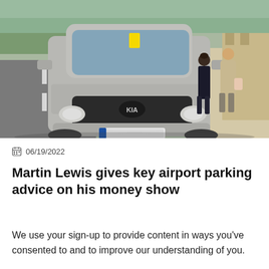[Figure (photo): A silver Kia SUV parked partially on a pavement/sidewalk on a city street. Two women are walking on the pavement next to a stone building. A yellow parking ticket is visible on the windscreen.]
06/19/2022
Martin Lewis gives key airport parking advice on his money show
We use your sign-up to provide content in ways you've consented to and to improve our understanding of you.